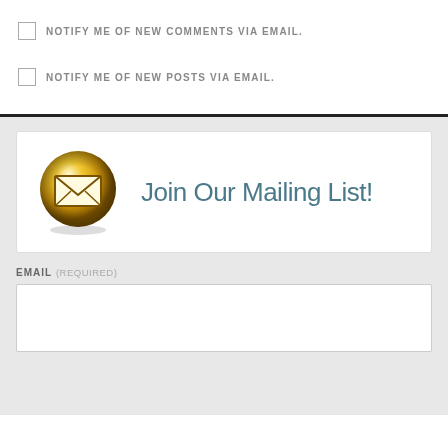NOTIFY ME OF NEW COMMENTS VIA EMAIL.
NOTIFY ME OF NEW POSTS VIA EMAIL.
[Figure (illustration): Join Our Mailing List banner with a gold envelope icon on the left and the text 'Join Our Mailing List!' in teal on the right]
EMAIL (REQUIRED)